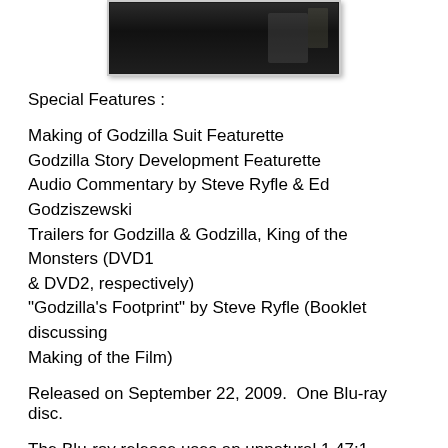[Figure (photo): Dark film still or screenshot showing a dimly lit scene, partially visible at top of page]
Special Features :
Making of Godzilla Suit Featurette
Godzilla Story Development Featurette
Audio Commentary by Steve Ryfle & Ed Godziszewski
Trailers for Godzilla & Godzilla, King of the Monsters (DVD1 & DVD2, respectively)
"Godzilla's Footprint" by Steve Ryfle (Booklet discussing Making of the Film)
Released on September 22, 2009.  One Blu-ray disc.
The Blu-ray release uses an unnatural 1.47:1 picture frame, as the film was shot in the Academy Ratio of 1.37:1.  Only the Japanese original was included.  The Special Features from DVD1 are included (in Standard Definition), but the Booklet is not.  The Blu-ray is single layered.  The main feature uses a 1080i resolution...